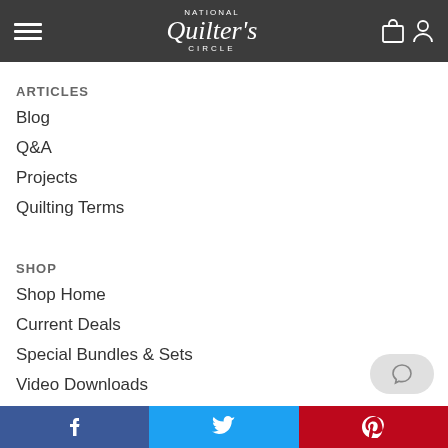National Quilters Circle
ARTICLES
Blog
Q&A
Projects
Quilting Terms
SHOP
Shop Home
Current Deals
Special Bundles & Sets
Video Downloads
DVD
Facebook | Twitter | Pinterest